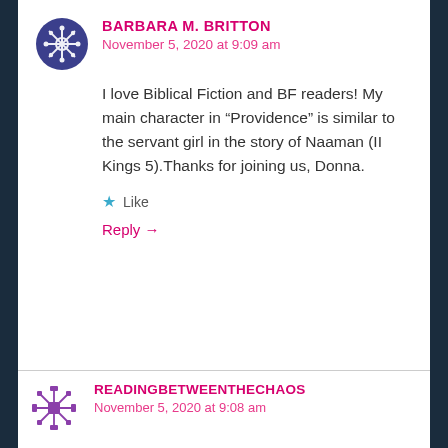BARBARA M. BRITTON
November 5, 2020 at 9:09 am
I love Biblical Fiction and BF readers! My main character in “Providence” is similar to the servant girl in the story of Naaman (II Kings 5).Thanks for joining us, Donna.
Like
Reply →
READINGBETWEENTHECHAOS
November 5, 2020 at 9:08 am
Wow! What an incredible example of God’s perfect